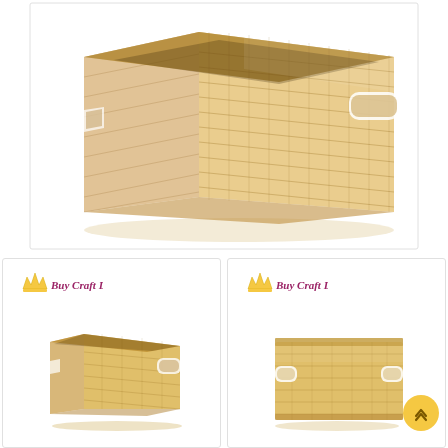[Figure (photo): Large close-up photo of a rectangular woven water hyacinth storage basket with cut-out handles on each end, natural tan/beige color, viewed from a slight angle showing front and side.]
[Figure (photo): Thumbnail photo of the same woven water hyacinth basket from a wider angle, with a Buy Craft Dot logo (gold crown + purple/pink text) in the top-left corner.]
[Figure (photo): Thumbnail photo of the same woven water hyacinth basket from a front-facing angle, with a Buy Craft Dot logo (gold crown + purple/pink text) in the top-left corner.]